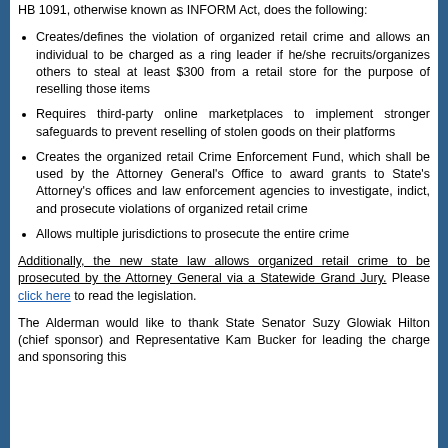HB 1091, otherwise known as INFORM Act, does the following:
Creates/defines the violation of organized retail crime and allows an individual to be charged as a ring leader if he/she recruits/organizes others to steal at least $300 from a retail store for the purpose of reselling those items
Requires third-party online marketplaces to implement stronger safeguards to prevent reselling of stolen goods on their platforms
Creates the organized retail Crime Enforcement Fund, which shall be used by the Attorney General's Office to award grants to State's Attorney's offices and law enforcement agencies to investigate, indict, and prosecute violations of organized retail crime
Allows multiple jurisdictions to prosecute the entire crime
Additionally, the new state law allows organized retail crime to be prosecuted by the Attorney General via a Statewide Grand Jury. Please click here to read the legislation.
The Alderman would like to thank State Senator Suzy Glowiak Hilton (chief sponsor) and Representative Kam Bucker for leading the charge and sponsoring this